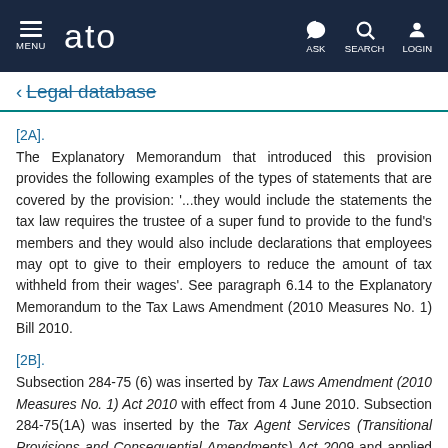MENU | ato | ASK | SEARCH | LOGIN
← Legal database
[2A].
The Explanatory Memorandum that introduced this provision provides the following examples of the types of statements that are covered by the provision: '...they would include the statements the tax law requires the trustee of a super fund to provide to the fund's members and they would also include declarations that employees may opt to give to their employers to reduce the amount of tax withheld from their wages'. See paragraph 6.14 to the Explanatory Memorandum to the Tax Laws Amendment (2010 Measures No. 1) Bill 2010.
[2B].
Subsection 284-75 (6) was inserted by Tax Laws Amendment (2010 Measures No. 1) Act 2010 with effect from 4 June 2010. Subsection 284-75(1A) was inserted by the Tax Agent Services (Transitional Provisions and Consequential Amendments) Act 2009 and applied to statements given on or after 1 March 2010. Subsection 284-75(1A) was repealed when subsection 284-75(6) took effect.